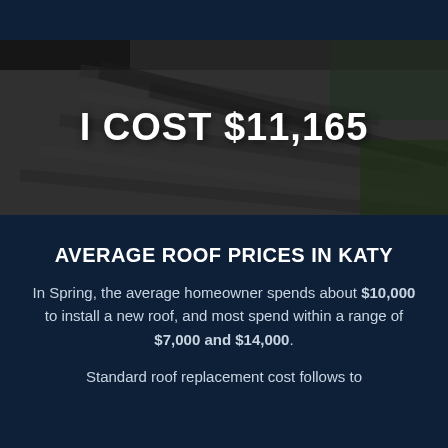[Figure (photo): Aerial view of a dark asphalt shingle roof]
I COST $11,165
AVERAGE ROOF PRICES IN KATY
In Spring, the average homeowner spends about $10,000 to install a new roof, and most spend within a range of $7,000 and $14,000.
Standard roof replacement cost follows to